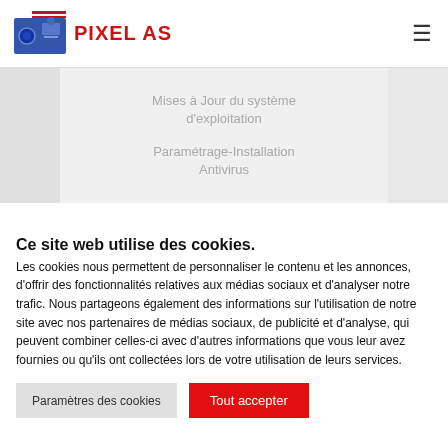[Figure (logo): PIXEL AS logo with stylized graphic and red text]
Mises à Jour du système d'exploitation
Paramétrage-Installation Antivirus
Ce site web utilise des cookies.
Les cookies nous permettent de personnaliser le contenu et les annonces, d'offrir des fonctionnalités relatives aux médias sociaux et d'analyser notre trafic. Nous partageons également des informations sur l'utilisation de notre site avec nos partenaires de médias sociaux, de publicité et d'analyse, qui peuvent combiner celles-ci avec d'autres informations que vous leur avez fournies ou qu'ils ont collectées lors de votre utilisation de leurs services.
Paramètres des cookies
Tout accepter